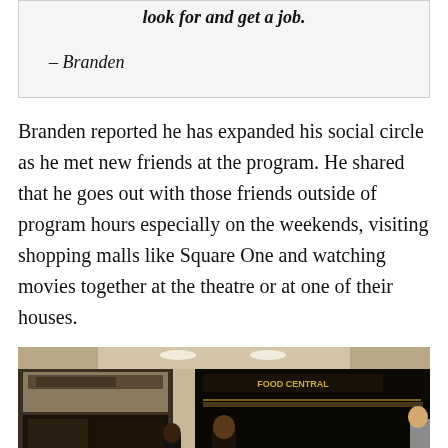look for and get a job.
– Branden
Branden reported he has expanded his social circle as he met new friends at the program. He shared that he goes out with those friends outside of program hours especially on the weekends, visiting shopping malls like Square One and watching movies together at the theatre or at one of their houses.
[Figure (photo): Photo of a shopping mall interior with stores visible in the background and people in the foreground.]